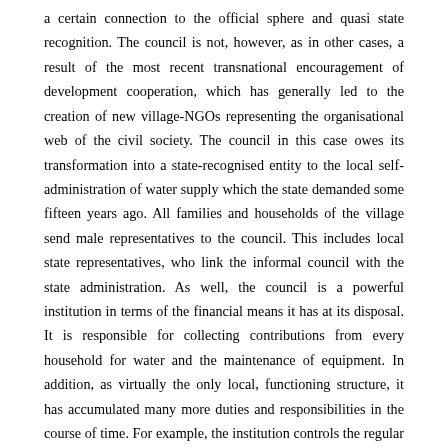a certain connection to the official sphere and quasi state recognition. The council is not, however, as in other cases, a result of the most recent transnational encouragement of development cooperation, which has generally led to the creation of new village-NGOs representing the organisational web of the civil society. The council in this case owes its transformation into a state-recognised entity to the local self-administration of water supply which the state demanded some fifteen years ago. All families and households of the village send male representatives to the council. This includes local state representatives, who link the informal council with the state administration. As well, the council is a powerful institution in terms of the financial means it has at its disposal. It is responsible for collecting contributions from every household for water and the maintenance of equipment. In addition, as virtually the only local, functioning structure, it has accumulated many more duties and responsibilities in the course of time. For example, the institution controls the regular support payments for the religious infrastructure, the mosque and the fqih, the religious clerk. Furthermore, the im'a has taken over the neglected duties of the officially-